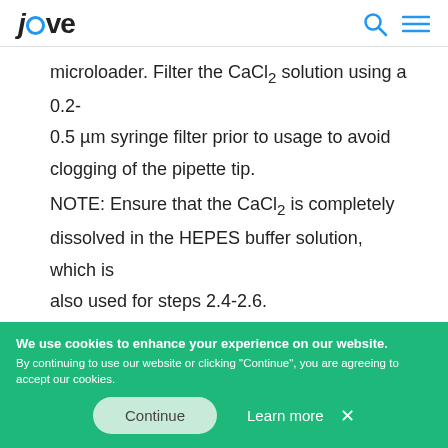jove
microloader. Filter the CaCl₂ solution using a 0.2-0.5 µm syringe filter prior to usage to avoid clogging of the pipette tip.
NOTE: Ensure that the CaCl₂ is completely dissolved in the HEPES buffer solution, which is also used for steps 2.4-2.6.
4. Connect a micropipette holder to a micromanipulator. Mount the micropipette into
We use cookies to enhance your experience on our website. By continuing to use our website or clicking "Continue", you are agreeing to accept our cookies.